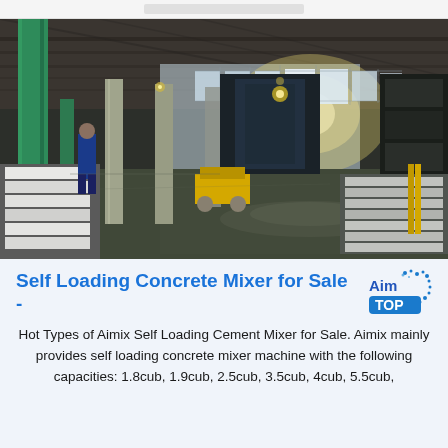[Figure (photo): Interior of a large industrial warehouse or factory floor. Green painted steel columns are visible on the left. Concrete floor with stacked white/grey panels on both sides. Heavy machinery and equipment in the background. Natural light enters from windows along the far wall. A worker in blue is visible on the left side.]
Self Loading Concrete Mixer for Sale - Aimix Top
Hot Types of Aimix Self Loading Cement Mixer for Sale. Aimix mainly provides self loading concrete mixer machine with the following capacities: 1.8cub, 1.9cub, 2.5cub, 3.5cub, 4cub, 5.5cub,